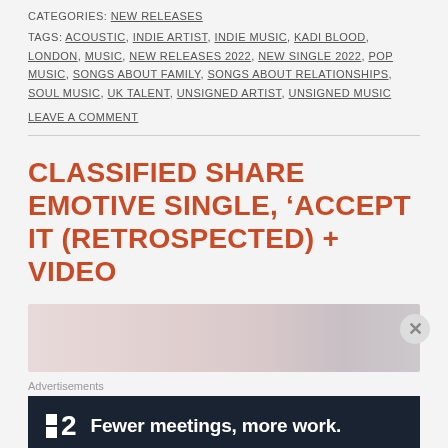CATEGORIES: NEW RELEASES
TAGS: ACOUSTIC, INDIE ARTIST, INDIE MUSIC, KADI BLOOD, LONDON, MUSIC, NEW RELEASES 2022, NEW SINGLE 2022, POP MUSIC, SONGS ABOUT FAMILY, SONGS ABOUT RELATIONSHIPS, SOUL MUSIC, UK TALENT, UNSIGNED ARTIST, UNSIGNED MUSIC
LEAVE A COMMENT
CLASSIFIED SHARE EMOTIVE SINGLE, ‘ACCEPT IT (RETROSPECTED) + VIDEO
[Figure (other): Partial image/advertisement area with pink-toned background gradient and close button]
Advertisements
[Figure (other): Advertisement banner: Fewer meetings, more work. with logo showing two squares and number 2]